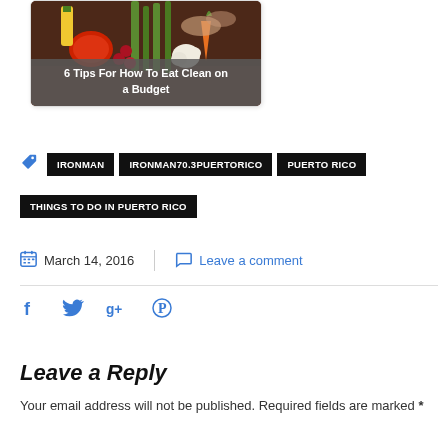[Figure (photo): Card with food image showing vegetables and the text '6 Tips For How To Eat Clean on a Budget']
IRONMAN   IRONMAN70.3PUERTORICO   PUERTO RICO   THINGS TO DO IN PUERTO RICO
March 14, 2016   Leave a comment
Social share icons: Facebook, Twitter, Google+, Pinterest
Leave a Reply
Your email address will not be published. Required fields are marked *